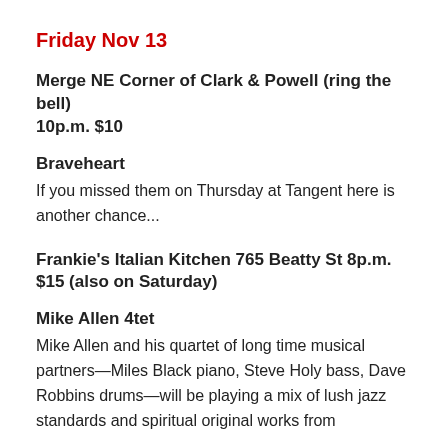Friday Nov 13
Merge NE Corner of Clark & Powell (ring the bell) 10p.m. $10
Braveheart
If you missed them on Thursday at Tangent here is another chance...
Frankie's Italian Kitchen 765 Beatty St 8p.m. $15 (also on Saturday)
Mike Allen 4tet
Mike Allen and his quartet of long time musical partners—Miles Black piano, Steve Holy bass, Dave Robbins drums—will be playing a mix of lush jazz standards and spiritual original works from